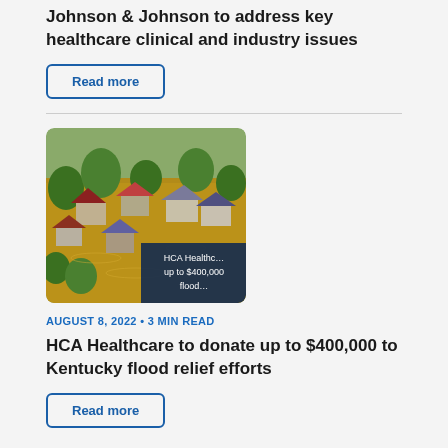Johnson & Johnson to address key healthcare clinical and industry issues
Read more
[Figure (photo): Aerial view of flooded neighborhood with houses submerged in brown floodwater surrounded by trees. Overlay text reads: HCA Healthcare to donate up to $400,000 to flood relief efforts.]
AUGUST 8, 2022 • 3 MIN READ
HCA Healthcare to donate up to $400,000 to Kentucky flood relief efforts
Read more